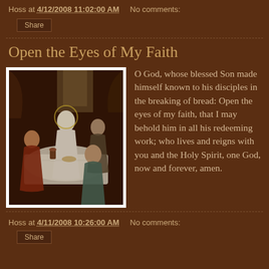Hoss at 4/12/2008 11:02:00 AM   No comments:
Share
Open the Eyes of My Faith
[Figure (illustration): Classical religious painting depicting Jesus Christ seated at a table with disciples, breaking bread. Jesus is shown in white robes with a halo/glow, surrounded by three figures in a dimly lit interior setting.]
O God, whose blessed Son made himself known to his disciples in the breaking of bread: Open the eyes of my faith, that I may behold him in all his redeeming work; who lives and reigns with you and the Holy Spirit, one God, now and forever, amen.
Hoss at 4/11/2008 10:26:00 AM   No comments:
Share